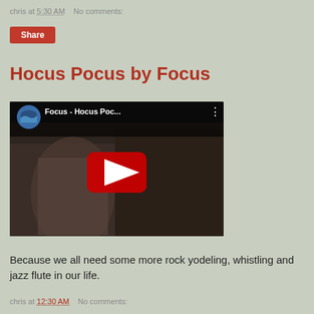chris at 5:30 AM    No comments:
Share
Hocus Pocus by Focus
[Figure (screenshot): YouTube video thumbnail showing 'Focus - Hocus Poc...' with a red play button, circular channel icon, and a live concert scene with a musician in a floral shirt playing keyboard/guitar.]
Because we all need some more rock yodeling, whistling and jazz flute in our life.
chris at 12:30 AM    No comments: